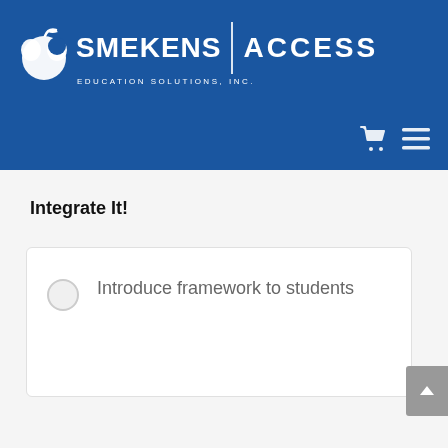SMEKENS EDUCATION SOLUTIONS, INC. | ACCESS
Integrate It!
Introduce framework to students